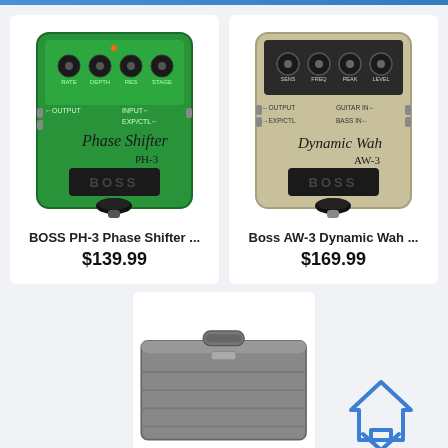[Figure (photo): BOSS PH-3 Phase Shifter guitar effects pedal, green color]
BOSS PH-3 Phase Shifter ...
$139.99
[Figure (photo): Boss AW-3 Dynamic Wah guitar effects pedal, beige/gold color]
Boss AW-3 Dynamic Wah ...
$169.99
[Figure (photo): Gray hard-shell instrument case, partially visible at bottom center]
[Figure (logo): House-shaped logo outline in blue, bottom right corner]